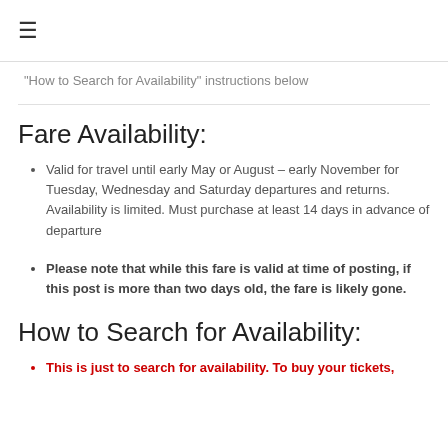≡
“How to Search for Availability” instructions below
Fare Availability:
Valid for travel until early May or August – early November for Tuesday, Wednesday and Saturday departures and returns.  Availability is limited. Must purchase at least 14 days in advance of departure
Please note that while this fare is valid at time of posting, if this post is more than two days old, the fare is likely gone.
How to Search for Availability:
This is just to search for availability. To buy your tickets,